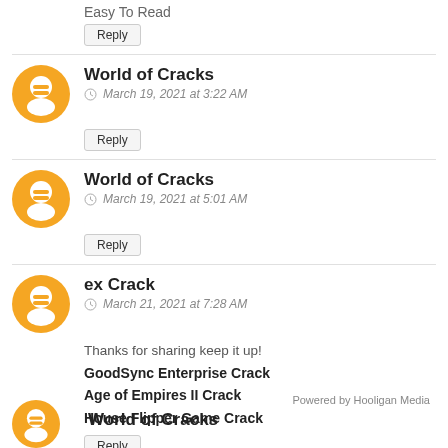Easy To Read
Reply
World of Cracks
March 19, 2021 at 3:22 AM
Reply
World of Cracks
March 19, 2021 at 5:01 AM
Reply
ex Crack
March 21, 2021 at 7:28 AM
Thanks for sharing keep it up!
GoodSync Enterprise Crack
Age of Empires II Crack
House Flipper Game Crack
Reply
Powered by Hooligan Media
World of Cracks